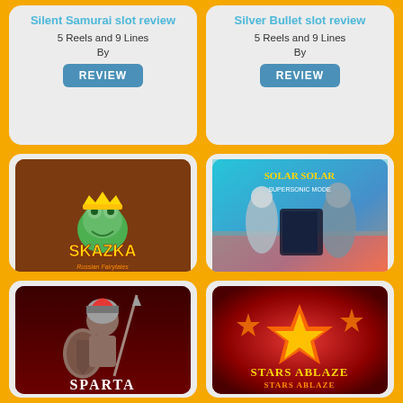Silent Samurai slot review
5 Reels and 9 Lines
By
REVIEW
Silver Bullet slot review
5 Reels and 9 Lines
By
REVIEW
[Figure (photo): Skazka slot game logo - frog with crown on brown background]
Skazka Slot slot review
5 Reels and 20 Lines
By
REVIEW
[Figure (photo): Solar Seven slot game screenshot - sci-fi theme with characters]
Solar Seven slot review
5 Reels and 40 Lines
By
REVIEW
[Figure (photo): Sparta slot game logo - warrior with shield]
[Figure (photo): Stars Ablaze slot game logo - stars on dark red background]